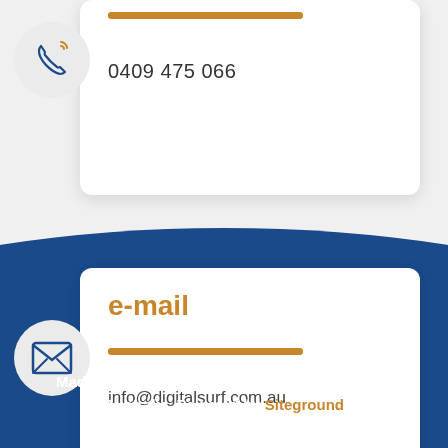0409 475 066
e-mail
info@digitalsurf.com.au
Made with love in Brisbane, New world's city of Australia. Powered by Siteground